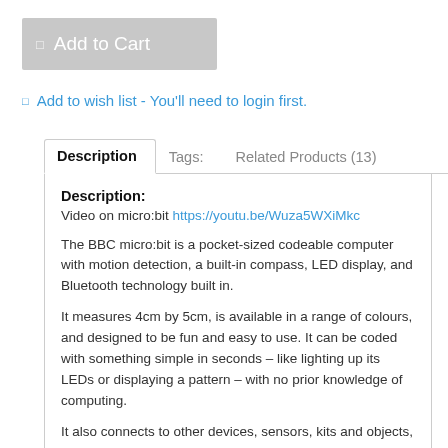Add to Cart
Add to wish list - You'll need to login first.
Description
Tags:
Related Products (13)
Description:
Video on micro:bit https://youtu.be/Wuza5WXiMkc

The BBC micro:bit is a pocket-sized codeable computer with motion detection, a built-in compass, LED display, and Bluetooth technology built in.

It measures 4cm by 5cm, is available in a range of colours, and designed to be fun and easy to use. It can be coded with something simple in seconds – like lighting up its LEDs or displaying a pattern – with no prior knowledge of computing.

It also connects to other devices, sensors, kits and objects, and is a companion to Arduino, Galileo, Kano, littleBits and Raspberry…